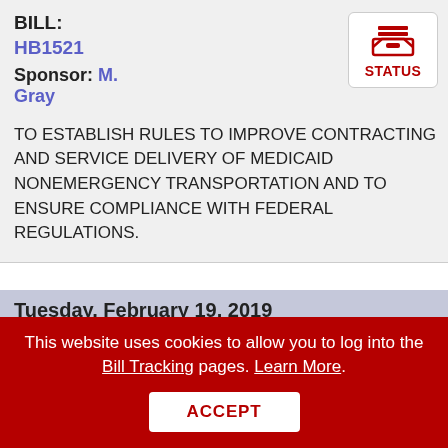BILL: HB1521
Sponsor: M. Gray
TO ESTABLISH RULES TO IMPROVE CONTRACTING AND SERVICE DELIVERY OF MEDICAID NONEMERGENCY TRANSPORTATION AND TO ENSURE COMPLIANCE WITH FEDERAL REGULATIONS.
Tuesday, February 19, 2019
BILL: SB5
Sponsor: T.
This website uses cookies to allow you to log into the Bill Tracking pages. Learn More.